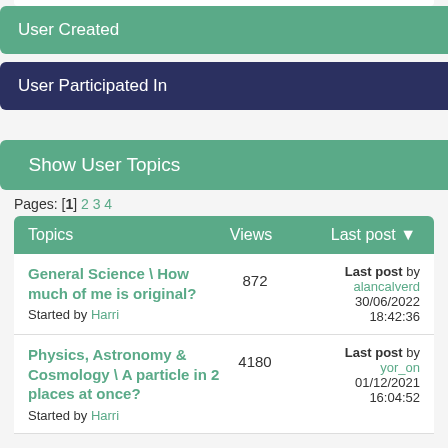User Created
User Participated In
Show User Topics
Pages: [1] 2 3 4
| Topics | Views | Last post |
| --- | --- | --- |
| General Science \ How much of me is original?
Started by Harri | 872 | Last post by alancalverd
30/06/2022
18:42:36 |
| Physics, Astronomy & Cosmology \ A particle in 2 places at once?
Started by Harri | 4180 | Last post by yor_on
01/12/2021
16:04:52 |